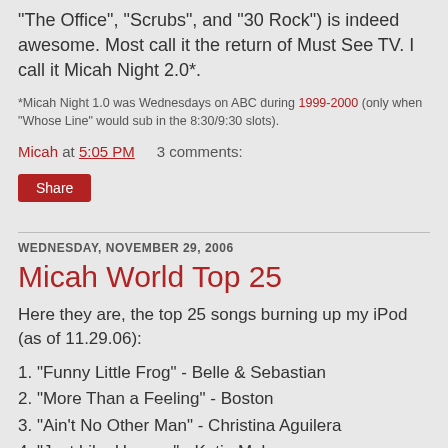"The Office", "Scrubs", and "30 Rock") is indeed awesome. Most call it the return of Must See TV. I call it Micah Night 2.0*.
*Micah Night 1.0 was Wednesdays on ABC during 1999-2000 (only when "Whose Line" would sub in the 8:30/9:30 slots).
Micah at 5:05 PM    3 comments:
Share
WEDNESDAY, NOVEMBER 29, 2006
Micah World Top 25
Here they are, the top 25 songs burning up my iPod (as of 11.29.06):
1. "Funny Little Frog" - Belle & Sebastian
2. "More Than a Feeling" - Boston
3. "Ain't No Other Man" - Christina Aguilera
4. "Just Like Heaven" - Katie Melua
5. ...